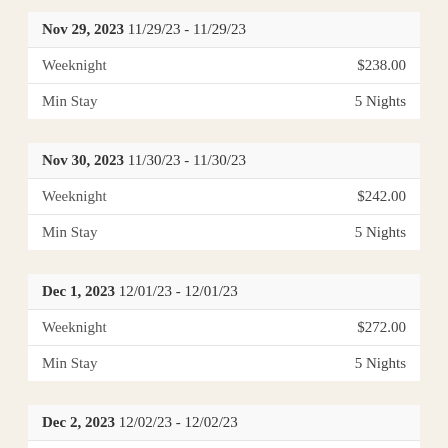| Nov 29, 2023 11/29/23 - 11/29/23 |  |
| Weeknight | $238.00 |
| Min Stay | 5 Nights |
| Nov 30, 2023 11/30/23 - 11/30/23 |  |
| Weeknight | $242.00 |
| Min Stay | 5 Nights |
| Dec 1, 2023 12/01/23 - 12/01/23 |  |
| Weeknight | $272.00 |
| Min Stay | 5 Nights |
| Dec 2, 2023 12/02/23 - 12/02/23 |  |
| Weeknight | $278.00 |